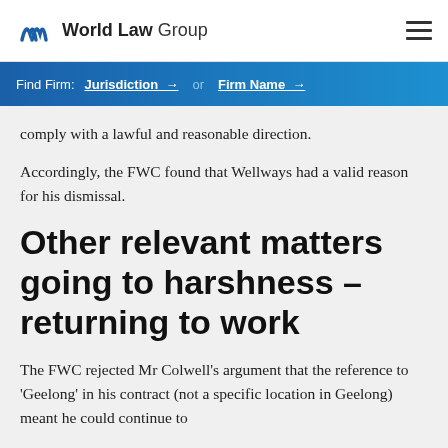World Law Group
Find Firm: Jurisdiction → or Firm Name →
comply with a lawful and reasonable direction.
Accordingly, the FWC found that Wellways had a valid reason for his dismissal.
Other relevant matters going to harshness – returning to work
The FWC rejected Mr Colwell's argument that the reference to 'Geelong' in his contract (not a specific location in Geelong) meant he could continue to